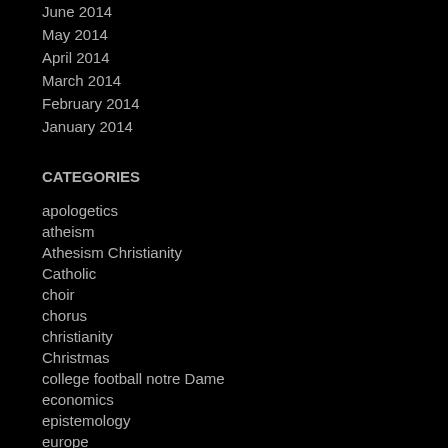June 2014
May 2014
April 2014
March 2014
February 2014
January 2014
CATEGORIES
apologetics
atheism
Athesism Christianity
Catholic
choir
chorus
christianity
Christmas
college football notre Dame
economics
epistemology
europe
history
Islam